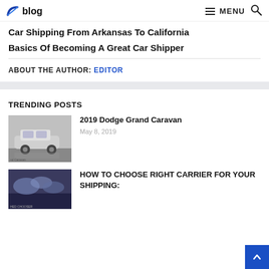blog | MENU
Car Shipping From Arkansas To California
Basics Of Becoming A Great Car Shipper
ABOUT THE AUTHOR: EDITOR
TRENDING POSTS
[Figure (photo): Thumbnail photo of a 2019 Dodge Grand Caravan, silver minivan in parking lot]
2019 Dodge Grand Caravan
May 8, 2019
[Figure (photo): Thumbnail photo for 'HOW TO CHOOSE RIGHT CARRIER FOR YOUR SHIPPING' showing a truck/carrier]
HOW TO CHOOSE RIGHT CARRIER FOR YOUR SHIPPING: